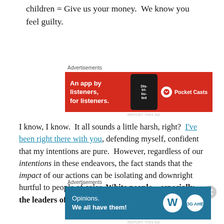children = Give us your money.  We know you feel guilty.
[Figure (screenshot): Red advertisement banner for Pocket Casts: 'An app by listeners, for listeners.' with phone graphic and Pocket Casts logo]
I know, I know.  It all sounds a little harsh, right?  I've been right there with you, defending myself, confident that my intentions are pure.  However, regardless of our intentions in these endeavors, the fact stands that the impact of our actions can be isolating and downright hurtful to people of color. White people – especially the leaders of the
[Figure (screenshot): Blue advertisement banner: 'Opinions. We all have them!' with WordPress and WP logos]